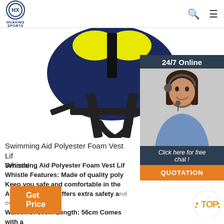HUAXING SPORTS
[Figure (photo): Swimming aid polyester foam vest life jacket with black straps and yellow panels, shown against white background]
[Figure (photo): 24/7 Online customer service representative - woman with headset smiling]
Swimming Aid Polyester Foam Vest Lif Whistle ...
Swimming Aid Polyester Foam Vest Lif Whistle Features: Made of quality poly Keep you safe and comfortable in the Adjustable strap offers extra safety and comfort Waistline: 80cm Length: 56cm Comes with a whistle Dimensions: 31.50 in x 22.05 in x 1.26 in (80.0 cm x 56.0 cm x 3.2 cm) Weight: 8.89 oz (252 g) Package included:
Get Price
Click here for free chat !
QUOTATION